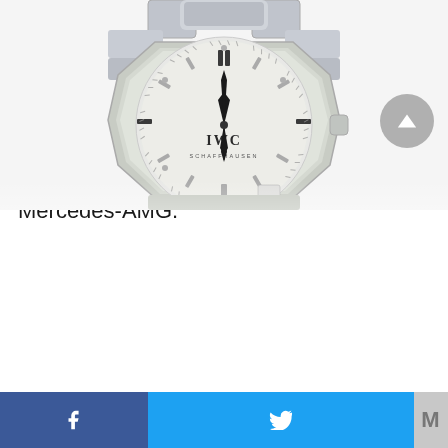With its 42mm stainless steel case, eye-catching stainless steel bracelet and bold dial, the IW3227 turned heads the moment it went on display. IWC briefly produced a special version of the Ingenieur 3227, complete with a titanium sports case, for Mercedes-AMG.
[Figure (photo): Close-up photo of an IWC Schaffhausen Ingenieur 3227 watch with stainless steel case and bracelet, silver dial, showing IWC SCHAFFHAUSEN text on dial, partially cropped at bottom]